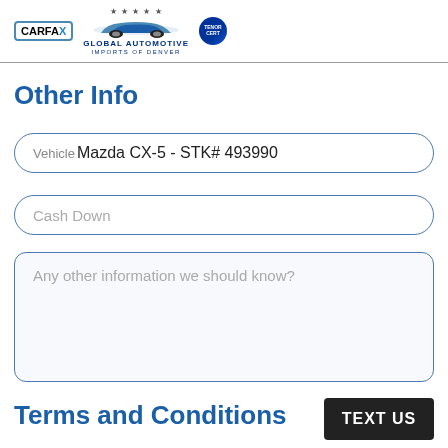[Figure (logo): Global Automotive Imports of Denver header with CARFAX logo, car silhouette with stars, Global Automotive Imports of Denver text, and Tenor badge]
Other Info
Vehicle: Mazda CX-5 - STK# 493990
Cash Down
Any other information we should know?
Terms and Conditions
TEXT US